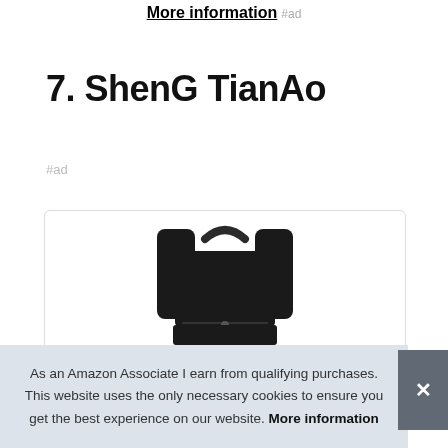More information #ad
7. ShenG TianAo
#ad
[Figure (photo): Product photo of a black backpack viewed from above/behind, with straps visible, inside a rounded card. Bottom strip shows colorful product thumbnails.]
As an Amazon Associate I earn from qualifying purchases. This website uses the only necessary cookies to ensure you get the best experience on our website. More information